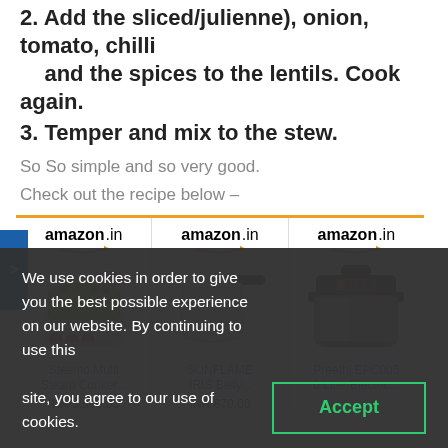2. Add the sliced/julienne), onion, tomato, chilli and the spices to the lentils. Cook again.
3. Temper and mix to the stew.
So So simple and so very good.
Check out the recipe below –
[Figure (screenshot): Three Amazon.in product listings in a grid: Steemo Multi Steam Cooker... INR 3,990.00, SUNFLAME IRIS Belly... INR 870.00, Preethi EPC005 6 Liter Electric...]
We use cookies in order to give you the best possible experience on our website. By continuing to use this site, you agree to our use of cookies. Accept